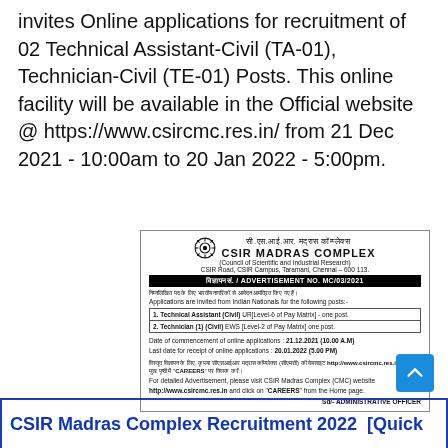invites Online applications for recruitment of 02 Technical Assistant-Civil (TA-01), Technician-Civil (TE-01) Posts. This online facility will be available in the Official website @ https://www.csircmc.res.in/ from 21 Dec 2021 - 10:00am to 20 Jan 2022 - 5:00pm.
[Figure (other): CSIR Madras Complex advertisement clipping showing logo, advertisement number MC/03/2021, post details for Technical Assistant (Civil) and Technician (1) (Civil), application dates, and website information.]
CSIR Madras Complex Recruitment 2022 [Quick